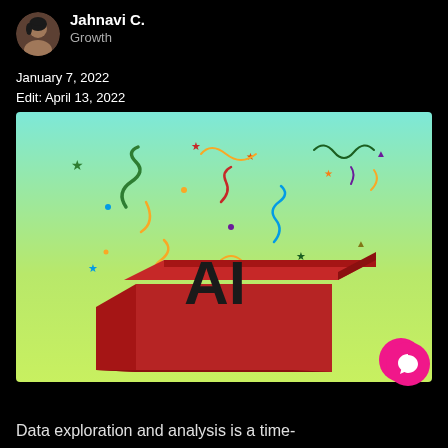Jahnavi C. Growth
January 7, 2022
Edit: April 13, 2022
[Figure (illustration): An open red gift box with confetti and streamers exploding out of it. A black stylized 'AI' text is visible rising from the box. The background transitions from teal/cyan at the top to yellow-green at the bottom.]
Data exploration and analysis is a time-